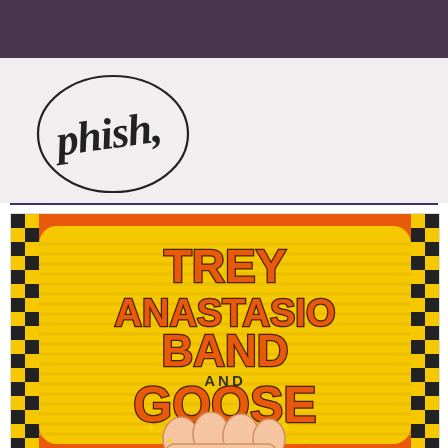[Figure (logo): Phish band logo: stylized cursive 'phish' text with a comma, enclosed in an irregular hand-drawn circle, black on white background]
[Figure (illustration): Concert poster for Trey Anastasio Band and Goose. Bold retro-style orange 3D lettering reading 'TREY ANASTASIO BAND AND GOOSE' on a yellow horizontally-striped background. Black and yellow checkerboard borders on left and right sides. Orange outer border. Illustration of a fist/hand with sparkle stars at bottom.]